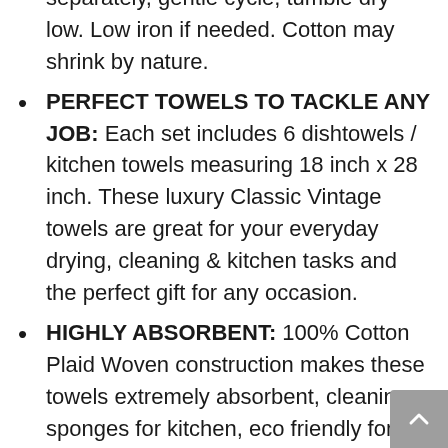separately, gentle cycle, tumble dry low. Low iron if needed. Cotton may shrink by nature.
PERFECT TOWELS TO TACKLE ANY JOB: Each set includes 6 dishtowels / kitchen towels measuring 18 inch x 28 inch. These luxury Classic Vintage towels are great for your everyday drying, cleaning & kitchen tasks and the perfect gift for any occasion.
HIGHLY ABSORBENT: 100% Cotton Plaid Woven construction makes these towels extremely absorbent, cleaning sponges for kitchen, eco friendly for cleaning, absorbent.
GREAT GIFT CHOICE: Classic balanced coordinated and complimented set with